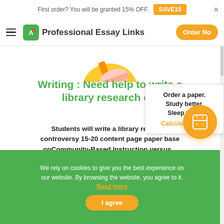First order? You will be granted 15% OFF. SAVE15
Professional Essay Links  Order Now
[Figure (illustration): Partial illustration of a person writing, cropped at top]
Writing : Need help to write a library research c...
Students will write a library research controversy 15-20 content page paper based onCommunity-Based Instruction versus...
Order a paper. Study better. Sleep tight. Calculate Price!
We rely on cookies to give you the best experience on our website. By browsing the website, you agree to it. Read more
I agree